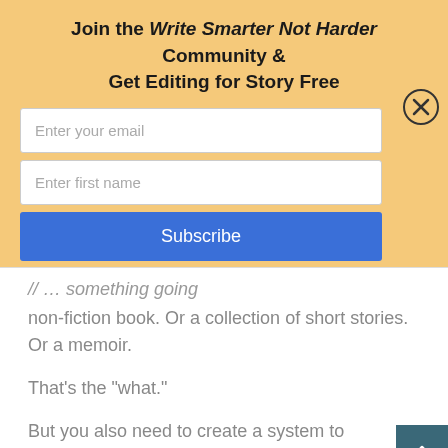Join the Write Smarter Not Harder Community & Get Editing for Story Free
Enter your email
Enter first name
Subscribe
non-fiction book. Or a collection of short stories. Or a memoir.
That’s the “what.”
But you also need to create a system to help you achieve that goal.
READ MORE